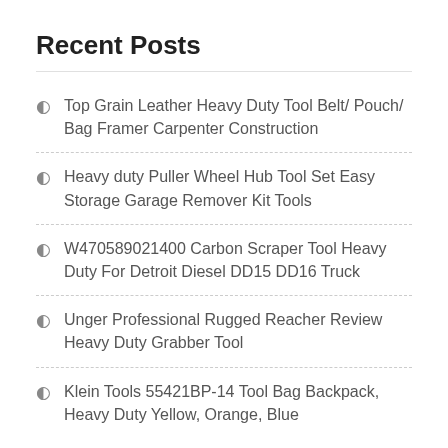Recent Posts
Top Grain Leather Heavy Duty Tool Belt/ Pouch/ Bag Framer Carpenter Construction
Heavy duty Puller Wheel Hub Tool Set Easy Storage Garage Remover Kit Tools
W470589021400 Carbon Scraper Tool Heavy Duty For Detroit Diesel DD15 DD16 Truck
Unger Professional Rugged Reacher Review Heavy Duty Grabber Tool
Klein Tools 55421BP-14 Tool Bag Backpack, Heavy Duty Yellow, Orange, Blue